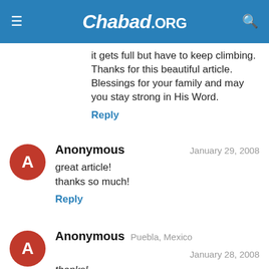Chabad.ORG
it gets full but have to keep climbing. Thanks for this beautiful article. Blessings for your family and may you stay strong in His Word.
Reply
Anonymous — January 29, 2008
great article!
thanks so much!
Reply
Anonymous — Puebla, Mexico — January 28, 2008
thanks!
just what I needed to know...I really mean it!, I thanked G-d for this this lesson.
Reply